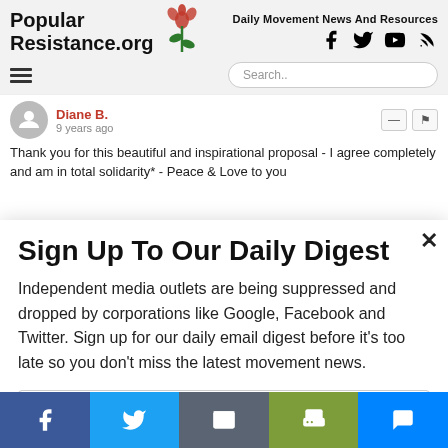Popular Resistance.org — Daily Movement News And Resources
Diane B.
9 years ago
Thank you for this beautiful and inspirational proposal - I agree completely and am in total solidarity* - Peace & Love to you
Sign Up To Our Daily Digest
Independent media outlets are being suppressed and dropped by corporations like Google, Facebook and Twitter. Sign up for our daily email digest before it's too late so you don't miss the latest movement news.
Email